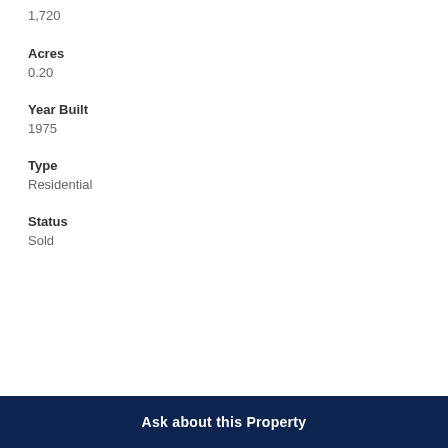1,720
Acres
0.20
Year Built
1975
Type
Residential
Status
Sold
Ask about this Property